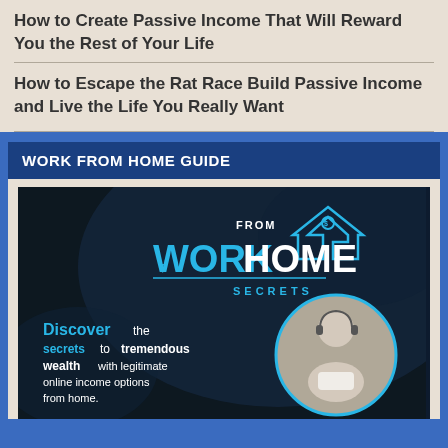How to Create Passive Income That Will Reward You the Rest of Your Life
How to Escape the Rat Race Build Passive Income and Live the Life You Really Want
WORK FROM HOME GUIDE
[Figure (illustration): Work From Home Secrets advertisement image showing logo with house icon, and woman with headset. Text reads: Discover the secrets to tremendous wealth with legitimate online income options from home.]